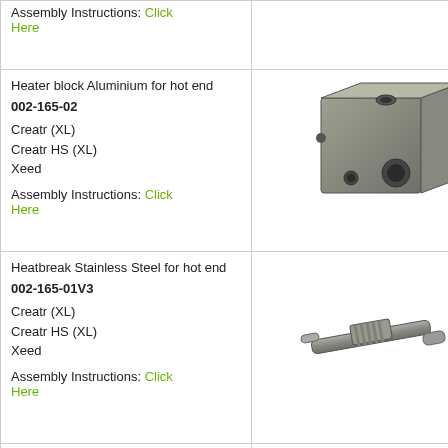| Product Info | Image |
| --- | --- |
| Assembly Instructions: Click Here |  |
| Heater block Aluminium for hot end
002-165-02
Creatr (XL)
Creatr HS (XL)
Xeed
Assembly Instructions: Click Here | [photo of aluminium heater block] |
| Heatbreak Stainless Steel for hot end
002-165-01V3
Creatr (XL)
Creatr HS (XL)
Xeed
Assembly Instructions: Click Here | [photo of stainless steel heatbreak] |
| PTFE tube 2-3mm
C-01-1086 |  |